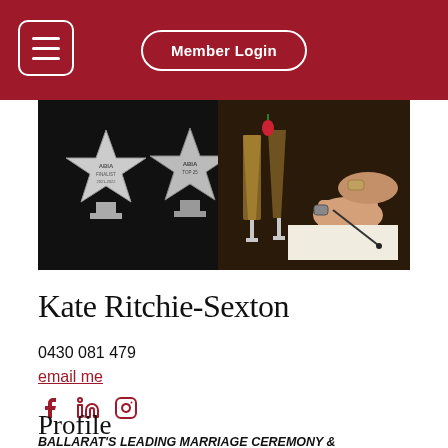Member Login
[Figure (photo): Banner photo showing award trophies (ABIA Finalist and ABIA Top 25 stars) alongside champagne flutes with strawberry garnish and hands signing a document]
Kate Ritchie-Sexton
0430 081 479
email me
[Figure (infographic): Social media icons: Facebook, LinkedIn, Instagram in dark red/crimson color]
Profile
BALLARAT'S LEADING MARRIAGE CEREMONY & FUNERAL SERVICE SPECIALIST